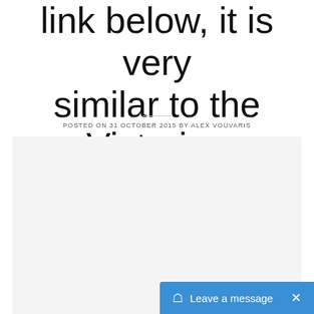link below, it is very similar to the Victorian version.
POSTED ON 31 OCTOBER 2015 BY ALEX VOUVARIS
[Figure (other): Light grey content area placeholder]
Leave a message ×